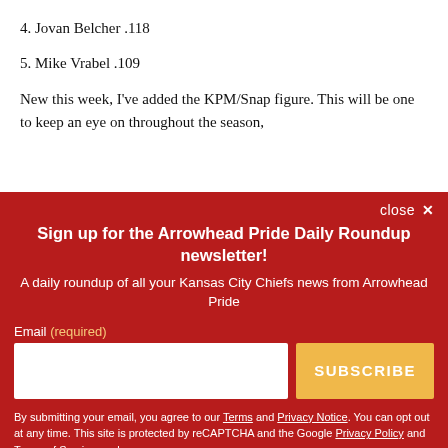4. Jovan Belcher .118
5. Mike Vrabel .109
New this week, I've added the KPM/Snap figure. This will be one to keep an eye on throughout the season,
Sign up for the Arrowhead Pride Daily Roundup newsletter!
A daily roundup of all your Kansas City Chiefs news from Arrowhead Pride
Email (required)
By submitting your email, you agree to our Terms and Privacy Notice. You can opt out at any time. This site is protected by reCAPTCHA and the Google Privacy Policy and Terms of Service apply.